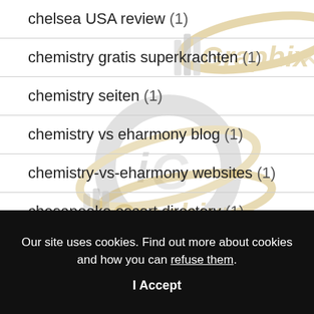chelsea USA review (1)
chemistry gratis superkrachten (1)
chemistry seiten (1)
chemistry vs eharmony blog (1)
chemistry-vs-eharmony websites (1)
chesapeake escort directory (1)
[Figure (logo): iGraphix logo watermark - silver and gold graphic design logo appearing multiple times as background watermark behind the list items]
Our site uses cookies. Find out more about cookies and how you can refuse them.
I Accept